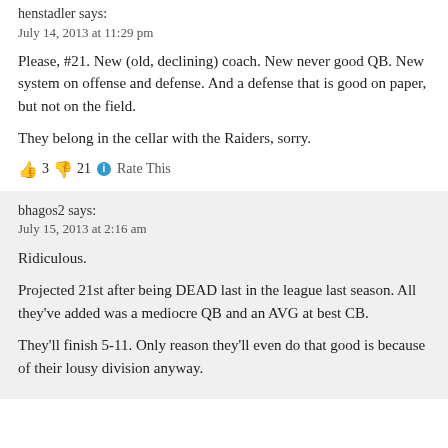henstadler says:
July 14, 2013 at 11:29 pm
Please, #21. New (old, declining) coach. New never good QB. New system on offense and defense. And a defense that is good on paper, but not on the field.
They belong in the cellar with the Raiders, sorry.
👍 3 👎 21 ℹ Rate This
bhagos2 says:
July 15, 2013 at 2:16 am
Ridiculous.
Projected 21st after being DEAD last in the league last season. All they've added was a mediocre QB and an AVG at best CB.
They'll finish 5-11. Only reason they'll even do that good is because of their lousy division anyway.